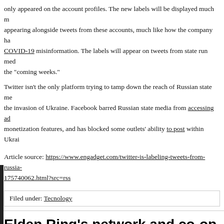only appeared on the account profiles. The new labels will be displayed much more prominently, appearing alongside tweets from these accounts, much like how the company has handled COVID-19 misinformation. The labels will appear on tweets from state run media in the "coming weeks."
Twitter isn't the only platform trying to tamp down the reach of Russian state media following the invasion of Ukraine. Facebook barred Russian state media from accessing advertising and monetization features, and has blocked some outlets' ability to post within Ukraine.
Article source: https://www.engadget.com/twitter-is-labeling-tweets-from-russia-175740062.html?src=rss
Filed under: Tecnology
Elden Ring's network and co-op is fixed on Xbox
FromSoftware's Elden Ring launched last week to overwhelmingly positive reviews, but network issues have prevented some players from enjoying the game to its fullest. Over the weekend, that issue was resolved. If you've been playing through the title on Xbox, you likely saw the inability to play Elden Ring online due to an error message that said "Network status check failed." Over the weekend, Microsoft's Larry "Major Nelson" Hryb said the issue had been resolved.
Neither FromSoftware nor publisher Bandai Namco said what caused the problem, but speculation made before this, like an anonymous they shared label them with d...